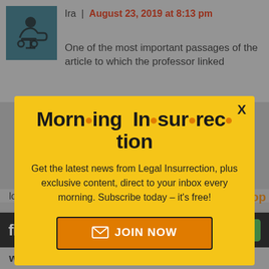Ira | August 23, 2019 at 8:13 pm
One of the most important passages of the article to which the professor linked
[Figure (illustration): Modal popup overlay with yellow background. Title: Morning Insurrection (with orange dots between syllables). Body text: Get the latest news from Legal Insurrection, plus exclusive content, direct to your inbox every morning. Subscribe today – it's free! Orange JOIN NOW button with envelope icon. X close button top-right.]
locations, the [flash]s were joined by
[Figure (logo): Fiverr logo (white text on black background) with green Start Now button]
were well-defended by armed